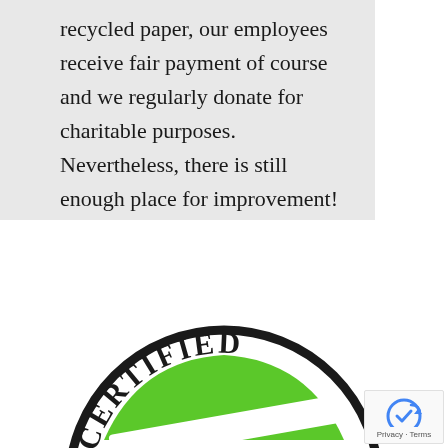recycled paper, our employees receive fair payment of course and we regularly donate for charitable purposes.
Nevertheless, there is still enough place for improvement!
[Figure (logo): A circular certification stamp with the text 'CERTIFIED' arched along the top, a green checkmark/swoosh symbol in the center, and the number '4320590' at the bottom. The circle has a thick black border.]